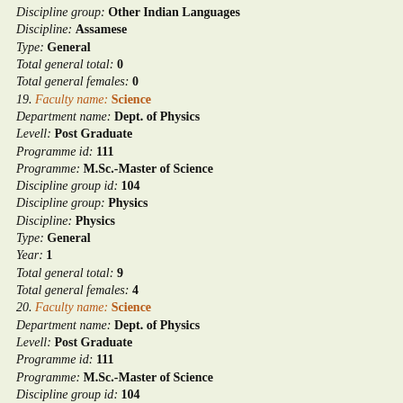Discipline group: Other Indian Languages
Discipline: Assamese
Type: General
Total general total: 0
Total general females: 0
19. Faculty name: Science
Department name: Dept. of Physics
Levell: Post Graduate
Programme id: 111
Programme: M.Sc.-Master of Science
Discipline group id: 104
Discipline group: Physics
Discipline: Physics
Type: General
Year: 1
Total general total: 9
Total general females: 4
20. Faculty name: Science
Department name: Dept. of Physics
Levell: Post Graduate
Programme id: 111
Programme: M.Sc.-Master of Science
Discipline group id: 104
Discipline group: Physics
Discipline: Physics
Type: General